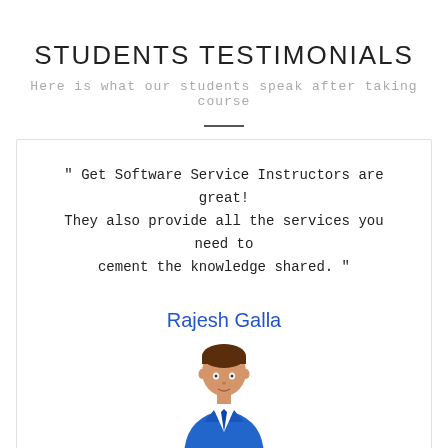STUDENTS TESTIMONIALS
Here is what our students speak after taking course
" Get Software Service Instructors are great! They also provide all the services you need to cement the knowledge shared. "
Rajesh Galla
[Figure (illustration): Avatar illustration of a person in a blue suit with a tie]